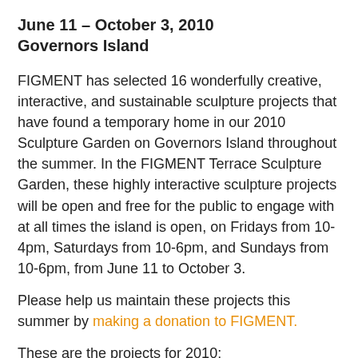June 11 – October 3, 2010
Governors Island
FIGMENT has selected 16 wonderfully creative, interactive, and sustainable sculpture projects that have found a temporary home in our 2010 Sculpture Garden on Governors Island throughout the summer. In the FIGMENT Terrace Sculpture Garden, these highly interactive sculpture projects will be open and free for the public to engage with at all times the island is open, on Fridays from 10-4pm, Saturdays from 10-6pm, and Sundays from 10-6pm, from June 11 to October 3.
Please help us maintain these projects this summer by making a donation to FIGMENT.
These are the projects for 2010: